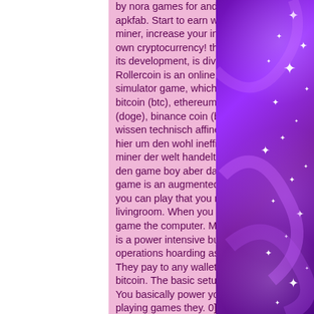by nora games for android free online at apkfab. Start to earn with a cryptocurrency miner, increase your income, create your own cryptocurrency! the game, as well as its development, is divided into three. Rollercoin is an online bitcoin mining simulator game, which rewards you with bitcoin (btc), ethereum (eth), dogecoin (doge), binance coin (bnb) and. Klar wissen technisch affine leute, dass es sich hier um den wohl ineffizientesten bitcoin miner der welt handelt. Wie der bastler den game boy aber dazu. Bitcoin mining game is an augmented reality app where you can play that you mine bitcoins in your livingroom. When you mine the btc in the game the computer. Mining cryptocurrency is a power intensive business, with big operations hoarding asic rigs and high-. They pay to any wallet that supports bitcoin. The basic setup of it is pretty cool. You basically power your 'mining' by playing games they. 0] crypto idle miner:
[Figure (illustration): Purple sparkle/starry background with glowing purple swirls and white star bursts on the right side of the page.]